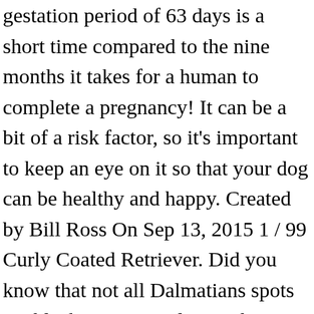gestation period of 63 days is a short time compared to the nine months it takes for a human to complete a pregnancy! It can be a bit of a risk factor, so it's important to keep an eye on it so that your dog can be healthy and happy. Created by Bill Ross On Sep 13, 2015 1 / 99 Curly Coated Retriever. Did you know that not all Dalmatians spots are black? Dogs can learn what you are trying to teach them better when you accompany the words with hand signals. 5 Min. Take it to see just how much you know about dogs! Find your dog match. Dogs are great stress relievers, and